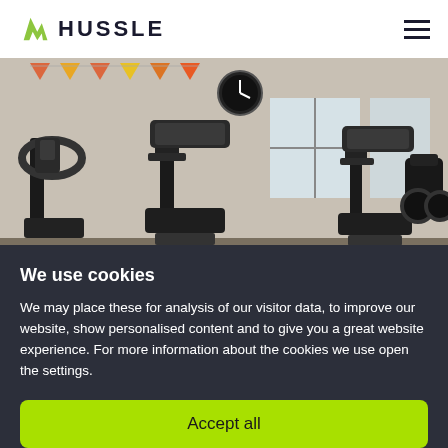HUSSLE
[Figure (photo): Interior of a gym showing cardio equipment including elliptical trainers and treadmills, with orange bunting decorations visible near the ceiling and windows in the background.]
We use cookies
We may place these for analysis of our visitor data, to improve our website, show personalised content and to give you a great website experience. For more information about the cookies we use open the settings.
Accept all
No, adjust